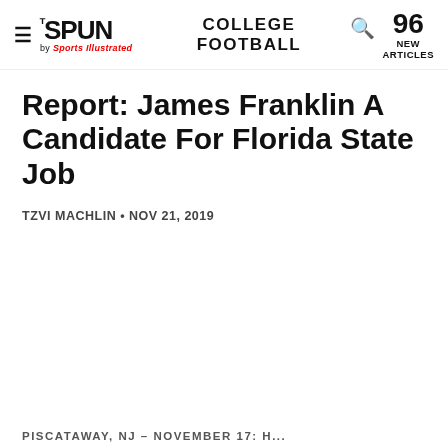THE SPUN by Sports Illustrated — COLLEGE FOOTBALL — 96 NEW ARTICLES
Report: James Franklin A Candidate For Florida State Job
TZVI MACHLIN • NOV 21, 2019
PISCATAWAY, NJ – NOVEMBER 17: ...